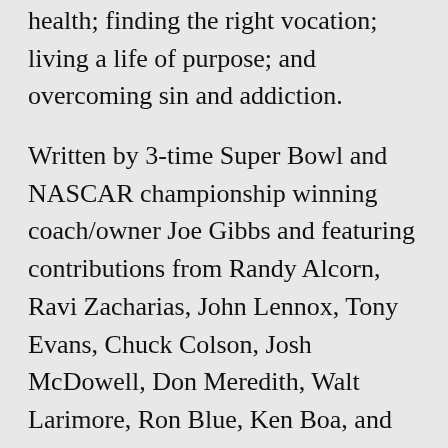health; finding the right vocation; living a life of purpose; and overcoming sin and addiction.
Written by 3-time Super Bowl and NASCAR championship winning coach/owner Joe Gibbs and featuring contributions from Randy Alcorn, Ravi Zacharias, John Lennox, Tony Evans, Chuck Colson, Josh McDowell, Don Meredith, Walt Larimore, Ron Blue, Ken Boa, and Os Guinness. This New York Times best-selling book shows readers how to live a balanced, God-centered, purpose-filled life. Books will be available at the class for $12.00.
This study will start January 21 and 22. We will have the same class meeting at three different